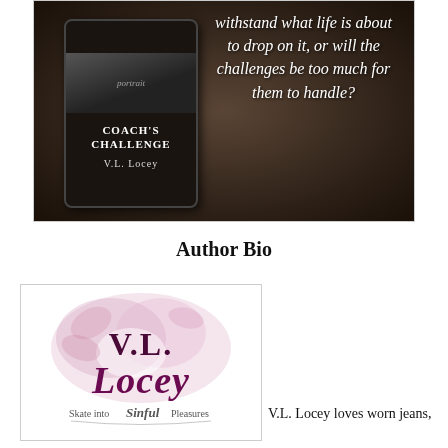[Figure (photo): Book promotion image showing a tablet displaying 'Coach's Challenge' by V.L. Locey on a dark sepia background, with italic white text asking 'withstand what life is about to drop on it, or will the challenges be too much for them to handle?']
Author Bio
[Figure (logo): V.L. Locey author logo with decorative floral/feather pink watercolor background, dark purple serif text reading 'V.L. Locey' and italic script tagline 'Skate into Sinful Pleasures']
V.L. Locey loves worn jeans,